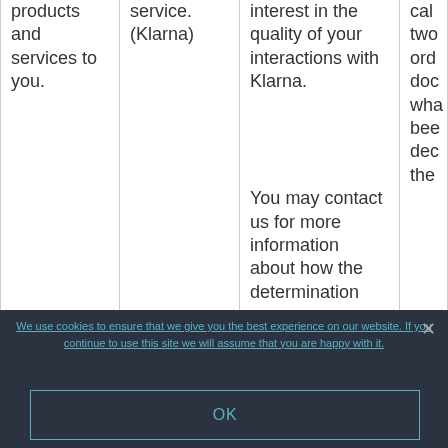products and services to you.
service. (Klarna)
interest in the quality of your interactions with Klarna.

You may contact us for more information about how the determination
cal... two... ord... doc... wha... bee... dec... the...
We use cookies to ensure that we give you the best experience on our website. If you continue to use this site we will assume that you are happy with it.
OK